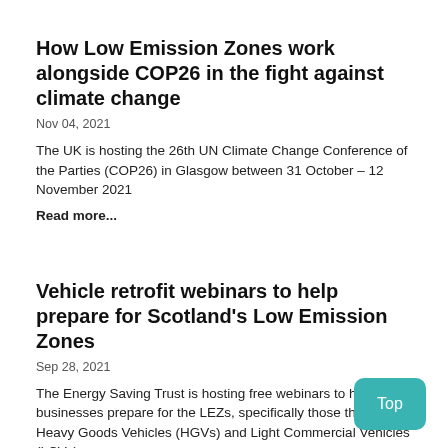How Low Emission Zones work alongside COP26 in the fight against climate change
Nov 04, 2021
The UK is hosting the 26th UN Climate Change Conference of the Parties (COP26) in Glasgow between 31 October – 12 November 2021
Read more...
Vehicle retrofit webinars to help prepare for Scotland's Low Emission Zones
Sep 28, 2021
The Energy Saving Trust is hosting free webinars to help businesses prepare for the LEZs, specifically those that use Heavy Goods Vehicles (HGVs) and Light Commercial Vehicles (LCVs).
Read more...